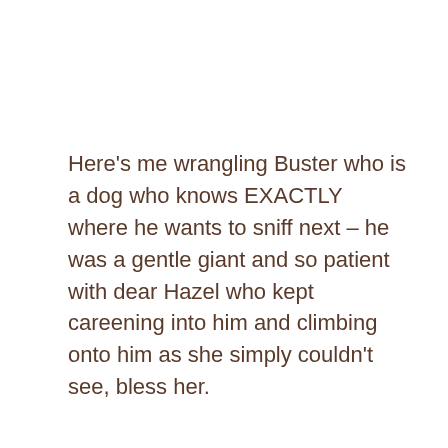Here's me wrangling Buster who is a dog who knows EXACTLY where he wants to sniff next – he was a gentle giant and so patient with dear Hazel who kept careening into him and climbing onto him as she simply couldn't see, bless her.